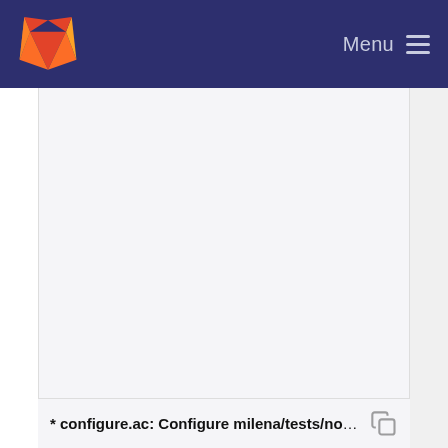Menu
[Figure (screenshot): GitLab web interface screenshot showing a navigation bar with GitLab fox logo on the left and Menu hamburger icon on the right, with a large empty main content area below, and a commit message bar at the bottom reading '* configure.ac: Configure milena/tests/norm/Makef...' with a copy icon]
* configure.ac: Configure milena/tests/norm/Makef...